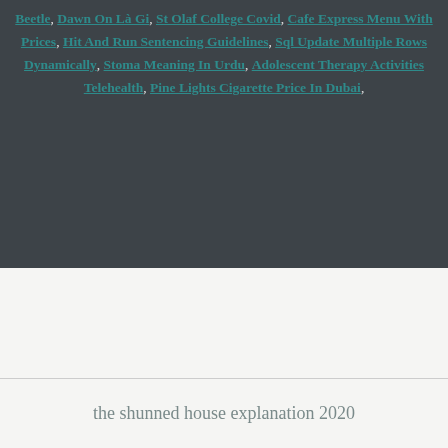Beetle, Dawn On Là Gi, St Olaf College Covid, Cafe Express Menu With Prices, Hit And Run Sentencing Guidelines, Sql Update Multiple Rows Dynamically, Stoma Meaning In Urdu, Adolescent Therapy Activities Telehealth, Pine Lights Cigarette Price In Dubai,
the shunned house explanation 2020